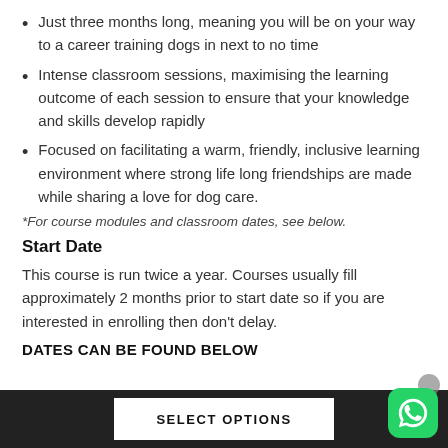Just three months long, meaning you will be on your way to a career training dogs in next to no time
Intense classroom sessions, maximising the learning outcome of each session to ensure that your knowledge and skills develop rapidly
Focused on facilitating a warm, friendly, inclusive learning environment where strong life long friendships are made while sharing a love for dog care.
*For course modules and classroom dates, see below.
Start Date
This course is run twice a year. Courses usually fill approximately 2 months prior to start date so if you are interested in enrolling then don't delay.
DATES CAN BE FOUND BELOW
SELECT OPTIONS